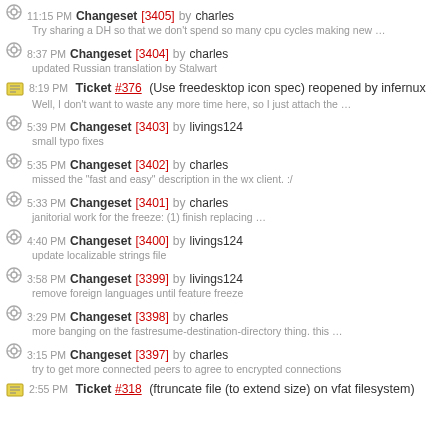11:15 PM Changeset [3405] by charles — Try sharing a DH so that we don't spend so many cpu cycles making new …
8:37 PM Changeset [3404] by charles — updated Russian translation by Stalwart
8:19 PM Ticket #376 (Use freedesktop icon spec) reopened by infernux — Well, I don't want to waste any more time here, so I just attach the …
5:39 PM Changeset [3403] by livings124 — small typo fixes
5:35 PM Changeset [3402] by charles — missed the "fast and easy" description in the wx client. :/
5:33 PM Changeset [3401] by charles — janitorial work for the freeze: (1) finish replacing …
4:40 PM Changeset [3400] by livings124 — update localizable strings file
3:58 PM Changeset [3399] by livings124 — remove foreign languages until feature freeze
3:29 PM Changeset [3398] by charles — more banging on the fastresume-destination-directory thing. this …
3:15 PM Changeset [3397] by charles — try to get more connected peers to agree to encrypted connections
2:55 PM Ticket #318 (ftruncate file (to extend size) on vfat filesystem)